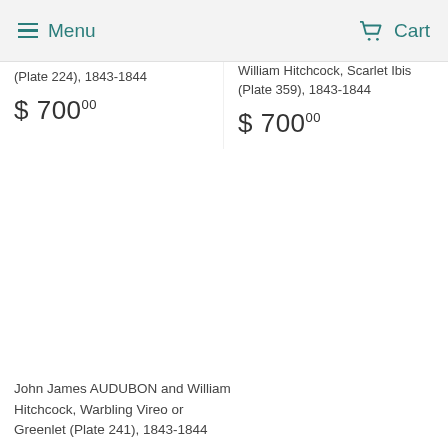Menu  Cart
(Plate 224), 1843-1844
$ 700 00
William Hitchcock, Scarlet Ibis (Plate 359), 1843-1844
$ 700 00
John James AUDUBON and William Hitchcock, Warbling Vireo or Greenlet (Plate 241), 1843-1844